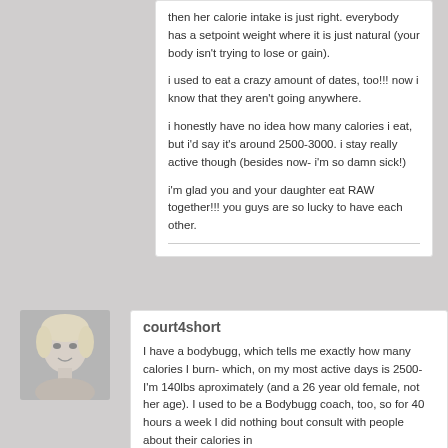then her calorie intake is just right. everybody has a setpoint weight where it is just natural (your body isn't trying to lose or gain).

i used to eat a crazy amount of dates, too!!! now i know that they aren't going anywhere.

i honestly have no idea how many calories i eat, but i'd say it's around 2500-3000. i stay really active though (besides now- i'm so damn sick!)

i'm glad you and your daughter eat RAW together!!! you guys are so lucky to have each other.
[Figure (photo): Small profile photo of a blonde woman, black and white]
court4short
I have a bodybugg, which tells me exactly how many calories I burn- which, on my most active days is 2500- I'm 140lbs aproximately (and a 26 year old female, not her age). I used to be a Bodybugg coach, too, so for 40 hours a week I did nothing bout consult with people about their calories in